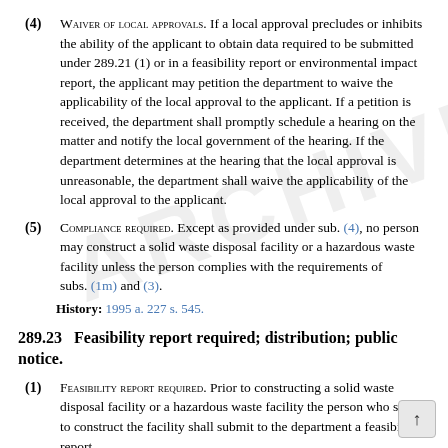(4) Waiver of local approvals. If a local approval precludes or inhibits the ability of the applicant to obtain data required to be submitted under 289.21 (1) or in a feasibility report or environmental impact report, the applicant may petition the department to waive the applicability of the local approval to the applicant. If a petition is received, the department shall promptly schedule a hearing on the matter and notify the local government of the hearing. If the department determines at the hearing that the local approval is unreasonable, the department shall waive the applicability of the local approval to the applicant.
(5) Compliance required. Except as provided under sub. (4), no person may construct a solid waste disposal facility or a hazardous waste facility unless the person complies with the requirements of subs. (1m) and (3).
History: 1995 a. 227 s. 545.
289.23 Feasibility report required; distribution; public notice.
(1) Feasibility report required. Prior to constructing a solid waste disposal facility or a hazardous waste facility the person who seeks to construct the facility shall submit to the department a feasibility report.
(2) Local approval application prerequisite. No person subject s. 289.33 may submit a feasibility report until the latest of